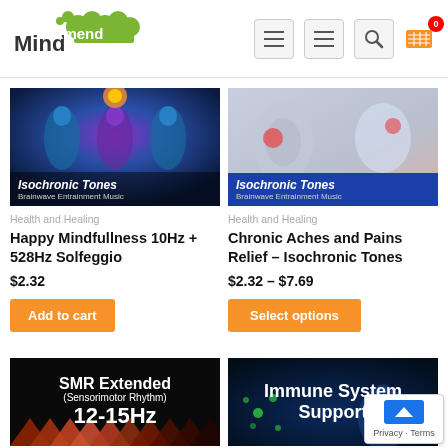Mind Amend
Health and Healing
Happy Mindfullness 10Hz + 528Hz Solfeggio
$2.32
Add to cart
Health and Healing
Chronic Aches and Pains Relief – Isochronic Tones
$2.32 – $7.69
Select options
[Figure (photo): SMR Extended (Sensorimotor Rhythm) 12-15Hz product image with dark background and triangle pattern]
[Figure (photo): Immune System Support product image with dark blue background and scientific imagery]
Privacy · Terms